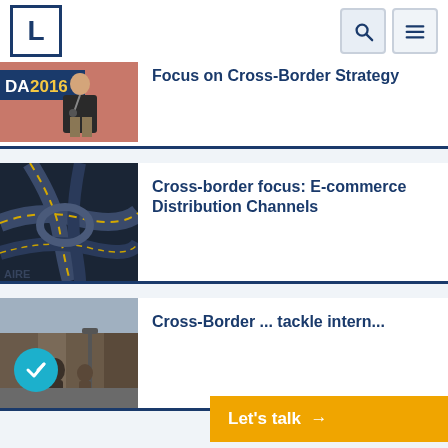L [logo] [search icon] [menu icon]
[Figure (photo): Partial top article - speaker at DA 2016 conference with text cut off at top]
Focus on Cross-Border Strategy
[Figure (photo): Aerial view of highway interchange roads at night with yellow lines]
Cross-border focus: E-commerce Distribution Channels
[Figure (photo): Street scene with people walking, partially visible]
Cross-Border ... tackle intern...
Let's talk →